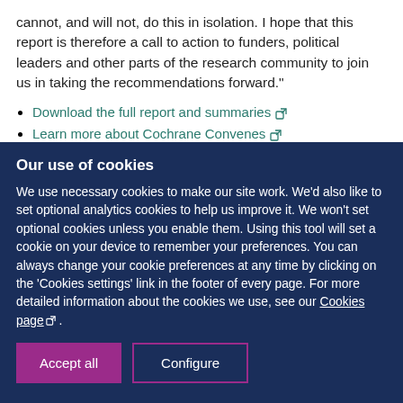cannot, and will not, do this in isolation. I hope that this report is therefore a call to action to funders, political leaders and other parts of the research community to join us in taking the recommendations forward."
Download the full report and summaries [external link]
Learn more about Cochrane Convenes [external link]
Our use of cookies
We use necessary cookies to make our site work. We'd also like to set optional analytics cookies to help us improve it. We won't set optional cookies unless you enable them. Using this tool will set a cookie on your device to remember your preferences. You can always change your cookie preferences at any time by clicking on the 'Cookies settings' link in the footer of every page. For more detailed information about the cookies we use, see our Cookies page .